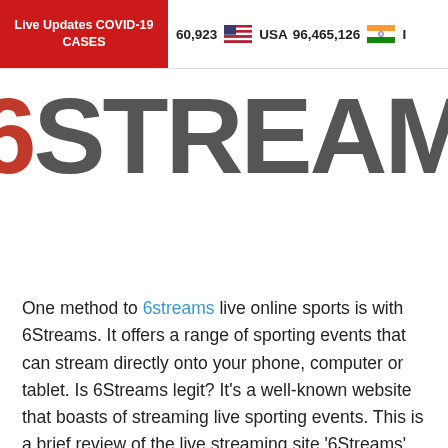Live Updates COVID-19 CASES   60,923   USA 96,465,126   I
[Figure (logo): 6STREAM logo with red '6' and dark gray 'STREAM' text in bold condensed font]
One method to 6streams live online sports is with 6Streams. It offers a range of sporting events that can stream directly onto your phone, computer or tablet. Is 6Streams legit? It's a well-known website that boasts of streaming live sporting events. This is a brief review of the live streaming site '6Streams'. Let's get started!